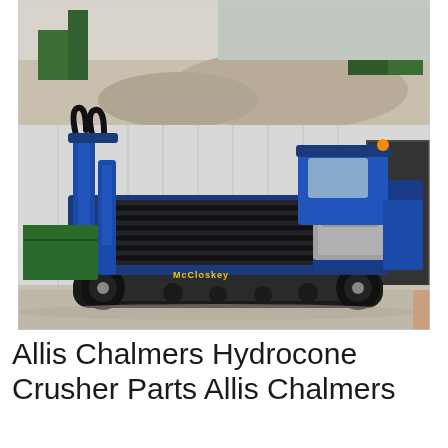[Figure (photo): A blue McCloskey tracked mobile machine (appears to be a screening or crushing plant) photographed in front of a grey metal building. The machine has a black conveyor/screen body mounted on rubber tracks with blue hydraulic uprights and a grey electrical cabinet. A forklift is visible in the background on the right side. The upper portion of the image shows a gravel/aggregate yard with green heavy equipment in the far background.]
Allis Chalmers Hydrocone Crusher Parts Allis Chalmers